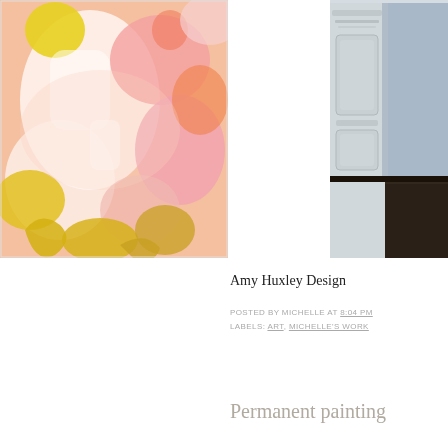[Figure (illustration): Abstract painting with pink, yellow, white, and orange expressive brushstrokes on canvas]
[Figure (photo): Interior architectural photo showing blue-gray painted wall with white ornate molding and dark wood floor]
Amy Huxley Design
POSTED BY MICHELLE AT 8:04 PM
LABELS: ART, MICHELLE'S WORK
Permanent painting